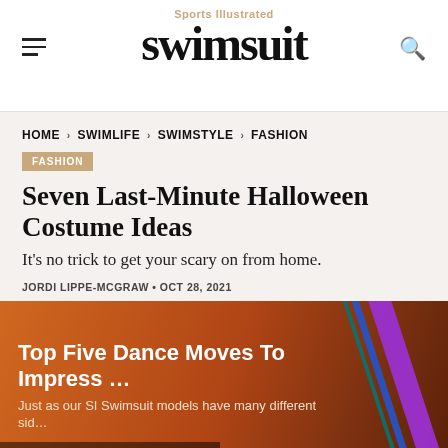Sports Illustrated swimsuit
HOME › SWIMLIFE › SWIMSTYLE › FASHION
FASHION
Seven Last-Minute Halloween Costume Ideas
It's no trick to get your scary on from home.
JORDI LIPPE-MCGRAW • OCT 28, 2021
[Figure (screenshot): Preview card for article 'Top Five Dance Moves To Impress ...' with tagline 'Just as our SI Swimsuit models have many different sid...' overlaid on an orange/brown background with purple and blue diagonal strips on the right side.]